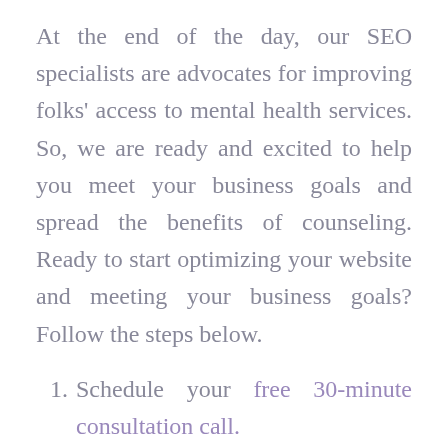At the end of the day, our SEO specialists are advocates for improving folks' access to mental health services. So, we are ready and excited to help you meet your business goals and spread the benefits of counseling. Ready to start optimizing your website and meeting your business goals? Follow the steps below.
Schedule your free 30-minute consultation call.